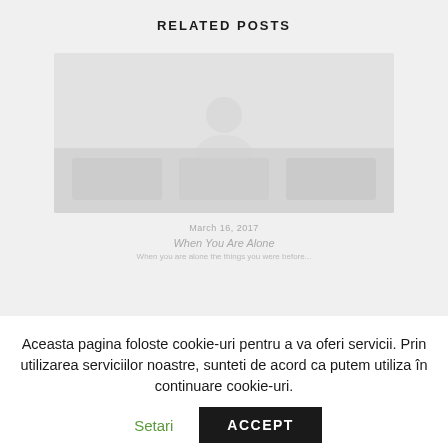RELATED POSTS
[Figure (photo): Blurred/faded card image placeholder for a related post, with date 'March 16, 2017', title 'When You Are Alone', and a short description text below.]
Aceasta pagina foloste cookie-uri pentru a va oferi servicii. Prin utilizarea serviciilor noastre, sunteti de acord ca putem utiliza în continuare cookie-uri.
Setari
ACCEPT